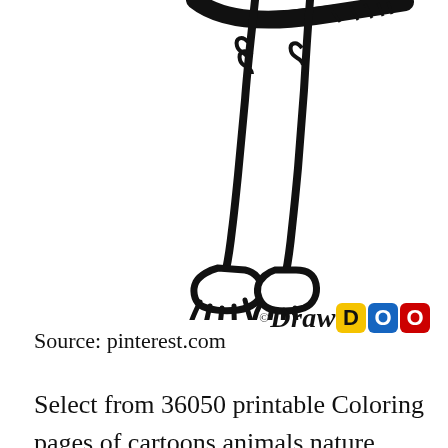[Figure (illustration): Line drawing of a cartoon pony/horse legs and hooves with a decorative collar/necklace visible at the top. Black and white coloring page style illustration. DrawDOO logo visible in the lower right of the image area.]
Source: pinterest.com
Select from 36050 printable Coloring pages of cartoons animals nature Bible and many more. Download this fun coloring page from My Little Pony Friendship is Magic. This color book was added on 2019-02-12 in my